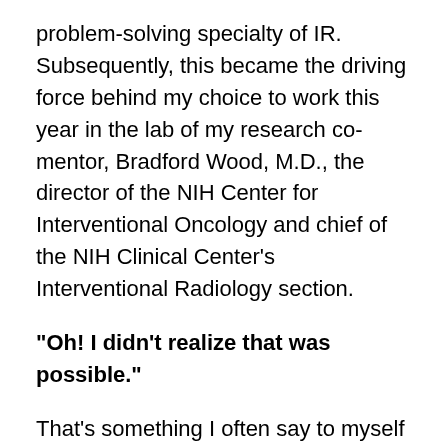problem-solving specialty of IR. Subsequently, this became the driving force behind my choice to work this year in the lab of my research co-mentor, Bradford Wood, M.D., the director of the NIH Center for Interventional Oncology and chief of the NIH Clinical Center's Interventional Radiology section.
“Oh! I didn’t realize that was possible.”
That’s something I often say to myself at the NIH. My lab focuses on taking existing IR techniques, combining them with novel technologies and applying them to create minimally invasive (and better) therapies for cancer. Members of the research team, which